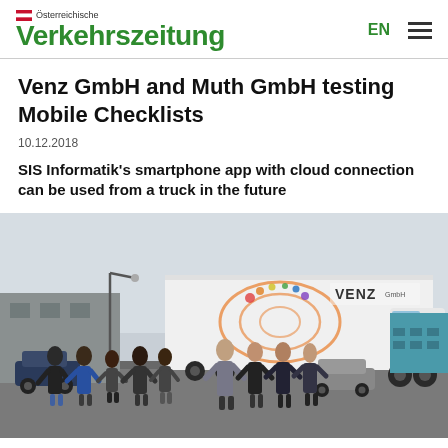Österreichische Verkehrszeitung
Venz GmbH and Muth GmbH testing Mobile Checklists
10.12.2018
SIS Informatik's smartphone app with cloud connection can be used from a truck in the future
[Figure (photo): Group of people standing in front of a Venz GmbH truck in a parking lot, overcast sky, building visible to the right]